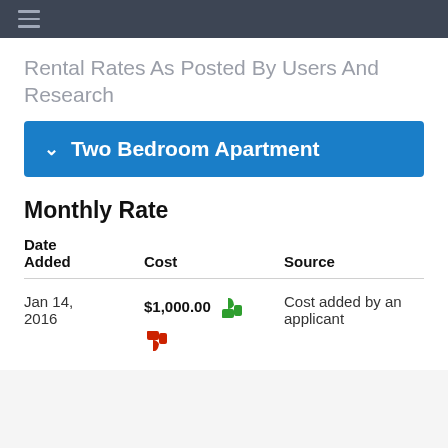≡
Rental Rates As Posted By Users And Research
Two Bedroom Apartment
Monthly Rate
| Date Added | Cost | Source |
| --- | --- | --- |
| Jan 14, 2016 | $1,000.00 👍 👎 | Cost added by an applicant |